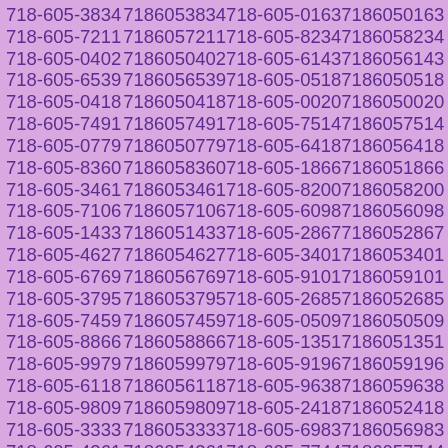718-605-3834 7186053834 718-605-0163 7186050163 718-605-7211 7186057211 718-605-8234 7186058234 718-605-0402 7186050402 718-605-6143 7186056143 718-605-6539 7186056539 718-605-0518 7186050518 718-605-0418 7186050418 718-605-0020 7186050020 718-605-7491 7186057491 718-605-7514 7186057514 718-605-0779 7186050779 718-605-6418 7186056418 718-605-8360 7186058360 718-605-1866 7186051866 718-605-3461 7186053461 718-605-8200 7186058200 718-605-7106 7186057106 718-605-6098 7186056098 718-605-1433 7186051433 718-605-2867 7186052867 718-605-4627 7186054627 718-605-3401 7186053401 718-605-6769 7186056769 718-605-9101 7186059101 718-605-3795 7186053795 718-605-2685 7186052685 718-605-7459 7186057459 718-605-0509 7186050509 718-605-8866 7186058866 718-605-1351 7186051351 718-605-9979 7186059979 718-605-9196 7186059196 718-605-6118 7186056118 718-605-9638 7186059638 718-605-9809 7186059809 718-605-2418 7186052418 718-605-3333 7186053333 718-605-6983 7186056983 718-605-4261 7186054261 718-605-7744 7186057744